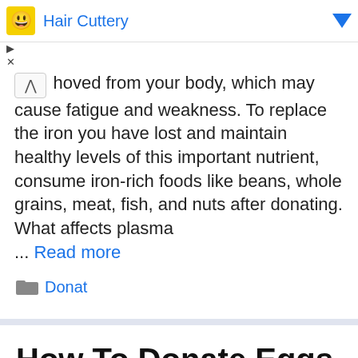[Figure (screenshot): Advertisement banner for Hair Cuttery with yellow icon, blue text title, blue dropdown arrow, and close/play controls]
noved from your body, which may cause fatigue and weakness. To replace the iron you have lost and maintain healthy levels of this important nutrient, consume iron-rich foods like beans, whole grains, meat, fish, and nuts after donating. What affects plasma … Read more
Donat
How To Donate Eggs Florida